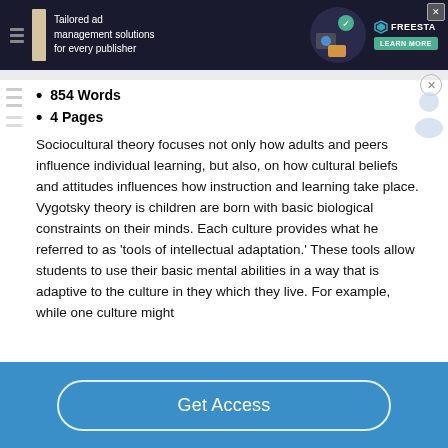[Figure (screenshot): Advertisement banner: dark background with text 'Tailored ad management solutions for every publisher', Freesta logo, green Learn More button, and X close button]
854 Words
4 Pages
Sociocultural theory focuses not only how adults and peers influence individual learning, but also, on how cultural beliefs and attitudes influences how instruction and learning take place. Vygotsky theory is children are born with basic biological constraints on their minds. Each culture provides what he referred to as ‘tools of intellectual adaptation.’ These tools allow students to use their basic mental abilities in a way that is adaptive to the culture in they which they live. For example, while one culture might
[Figure (screenshot): Blue call-to-action bar with 'Get Access' button in white outlined rounded rectangle]